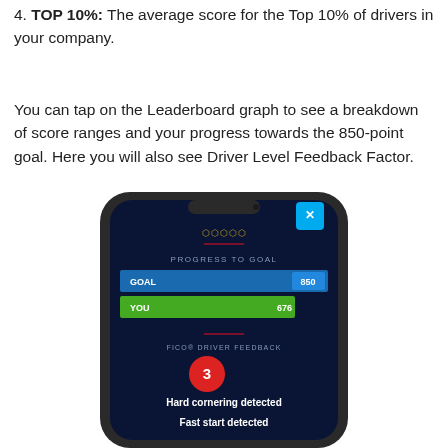4. TOP 10%: The average score for the Top 10% of drivers in your company.
You can tap on the Leaderboard graph to see a breakdown of score ranges and your progress towards the 850-point goal. Here you will also see Driver Level Feedback Factor.
[Figure (screenshot): Smartphone screenshot showing a FICO Driver app screen with 'Progress to Goal' section showing GOAL bar at 850 and YOU bar at 676, and FICO Driver Feedback section showing number 3 in a red circle, with text 'Hard cornering detected' and 'Fast start detected'.]